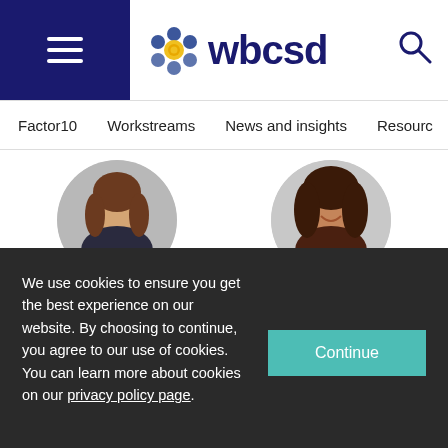[Figure (logo): WBCSD logo with navigation hamburger menu and search icon in header bar]
Factor10   Workstreams   News and insights   Resourc
[Figure (photo): Circular cropped headshot of Maayke Aimée Damen, a woman with long brown hair]
[Figure (photo): Circular cropped headshot of Irene Martinetti, a woman with curly dark hair]
Maayke Aimée Damen
Irene Martinetti
Manager, Circular
We use cookies to ensure you get the best experience on our website. By choosing to continue, you agree to our use of cookies. You can learn more about cookies on our privacy policy page.